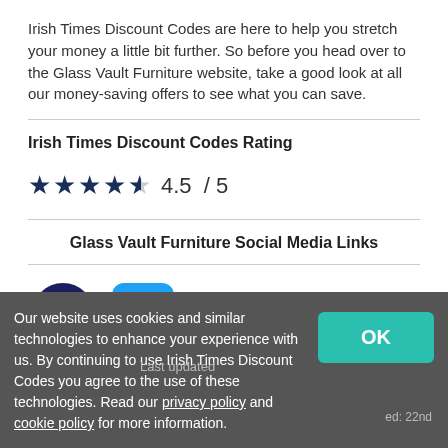Irish Times Discount Codes are here to help you stretch your money a little bit further. So before you head over to the Glass Vault Furniture website, take a good look at all our money-saving offers to see what you can save.
Irish Times Discount Codes Rating
[Figure (other): Star rating showing 4.5 out of 5 stars with four full stars and one half star, followed by text '4.5 / 5']
Glass Vault Furniture Social Media Links
[Figure (other): Facebook circular icon (dark navy) and Twitter rounded-square icon (blue)]
Our website uses cookies and similar technologies to enhance your experience with us. By continuing to use Irish Times Discount Codes you agree to the use of these technologies. Read our privacy policy and cookie policy for more information.